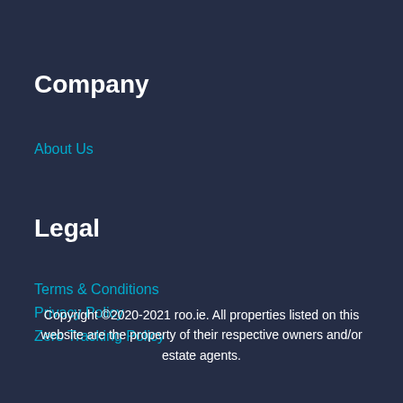Company
About Us
Legal
Terms & Conditions
Privacy Policy
Zero Tracking Policy
Copyright ©2020-2021 roo.ie. All properties listed on this website are the property of their respective owners and/or estate agents.